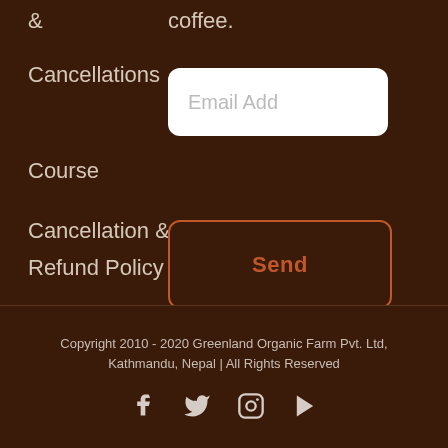&
coffee.
Cancellations
Course
Cancellation &
Refund Policy
Email Add
Send
Copyright 2010 - 2020 Greenland Organic Farm Pvt. Ltd, Kathmandu, Nepal | All Rights Reserved